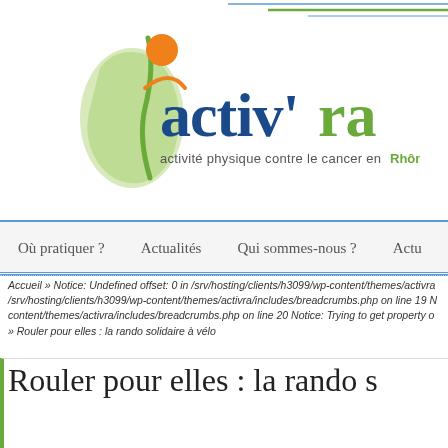[Figure (logo): activ'ra logo — activité physique contre le cancer en Rhône-Alpes, with a stylized figure in orange and green, and a light green map of Rhône-Alpes region]
Où pratiquer ?   Actualités   Qui sommes-nous ?   Actu
Accueil » Notice: Undefined offset: 0 in /srv/hosting/clients/h3099/wp-content/themes/activra /srv/hosting/clients/h3099/wp-content/themes/activra/includes/breadcrumbs.php on line 19 N content/themes/activra/includes/breadcrumbs.php on line 20 Notice: Trying to get property o » Rouler pour elles : la rando solidaire à vélo
Rouler pour elles : la rando s